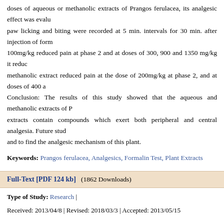doses of aqueous or methanolic extracts of Prangos ferulacea, its analgesic effect was evalu paw licking and biting were recorded at 5 min. intervals for 30 min. after injection of form 100mg/kg reduced pain at phase 2 and at doses of 300, 900 and 1350 mg/kg it reduc methanolic extract reduced pain at the dose of 200mg/kg at phase 2, and at doses of 400 a Conclusion: The results of this study showed that the aqueous and methanolic extracts of extracts contain compounds which exert both peripheral and central analgesia. Future stud and to find the analgesic mechanism of this plant.
Keywords: Prangos ferulacea, Analgesics, Formalin Test, Plant Extracts
Full-Text [PDF 124 kb]   (1862 Downloads)
Type of Study: Research |
Received: 2013/04/8 | Revised: 2018/03/3 | Accepted: 2013/05/15
Add your comments about this article
Your username or Email: Your Name or Email